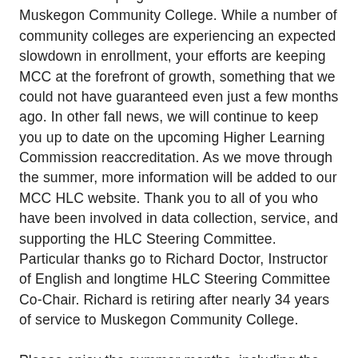interest in new programs and courses at Muskegon Community College. While a number of community colleges are experiencing an expected slowdown in enrollment, your efforts are keeping MCC at the forefront of growth, something that we could not have guaranteed even just a few months ago. In other fall news, we will continue to keep you up to date on the upcoming Higher Learning Commission reaccreditation. As we move through the summer, more information will be added to our MCC HLC website. Thank you to all of you who have been involved in data collection, service, and supporting the HLC Steering Committee. Particular thanks go to Richard Doctor, Instructor of English and longtime HLC Steering Committee Co-Chair. Richard is retiring after nearly 34 years of service to Muskegon Community College.

Please enjoy the summer months, including the MCC Shoot for the Stars Golf Outing on July 30, Summer Celebration,